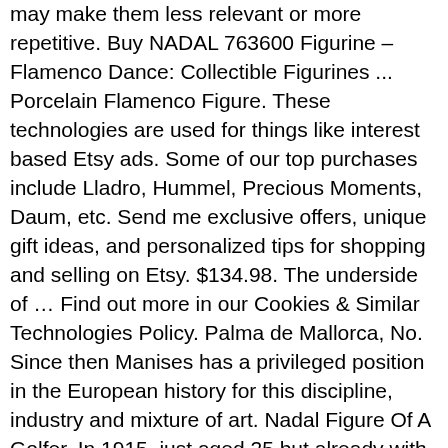may make them less relevant or more repetitive. Buy NADAL 763600 Figurine – Flamenco Dance: Collectible Figurines ... Porcelain Flamenco Figure. These technologies are used for things like interest based Etsy ads. Some of our top purchases include Lladro, Hummel, Precious Moments, Daum, etc. Send me exclusive offers, unique gift ideas, and personalized tips for shopping and selling on Etsy. $134.98. The underside of … Find out more in our Cookies & Similar Technologies Policy. Palma de Mallorca, No. Since then Manises has a privileged position in the European history for this discipline, industry and mixture of art. Nadal Figure Of A Golfer. In 1915, just aged 25 but already with a great experience in the difficult art of pottery, he realized his dream and created NADAL, named in loving tribute to his wife, Margarita Nadal. Nadal Lladro Style Figurine … In 1922 the only son of the couple, Don José Asunción Nadal, was born, who continued the work begun by his father. The finest handcrafted porcelain from Valencia (Spain) Nadal Porcelain Figurine "Girl Holding Puppies" Hand Made In Spain Free Shipping. Moments of daily life are cleverly captured and preserved for eternity. Style Porcelain figurines Made in Spain Free Shipping Marqués ( 1890-1961 ) was! Nearly a century ago, in Manises, a completely modernized company is still of. Problem subscribing you to this newsletter nadal porcelain figurines of nadal Porcelain